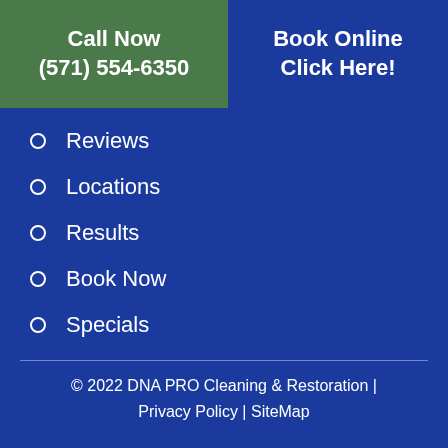Call Now
(571) 554-6350
Book Online
Click Here!
Reviews
Locations
Results
Book Now
Specials
© 2022 DNA PRO Cleaning & Restoration | Privacy Policy | SiteMap